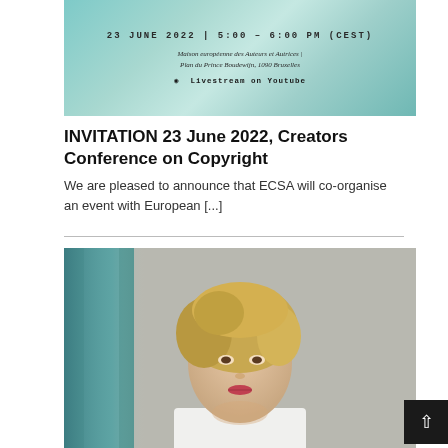[Figure (photo): Banner with teal/green gradient background showing event details: date 23 JUNE 2022 | 5:00 - 6:00 PM (CEST), venue Maison européenne des Auteurs et Autrices | Plan du Prince Boudewijn, 1090 Bruxelles, and Livestream on Youtube]
INVITATION 23 June 2022, Creators Conference on Copyright
We are pleased to announce that ECSA will co-organise an event with European [...]
[Figure (photo): Portrait photo of a blonde woman in a white shirt, looking at the camera, with a teal/blue curtain background]